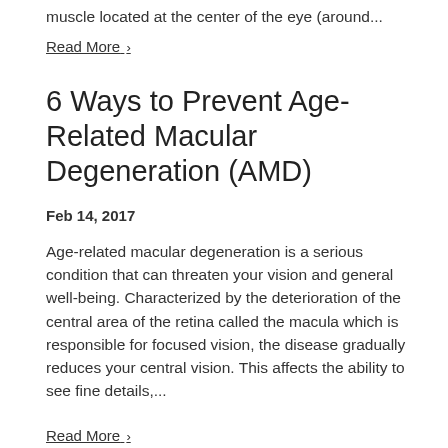muscle located at the center of the eye (around...
Read More ›
6 Ways to Prevent Age-Related Macular Degeneration (AMD)
Feb 14, 2017
Age-related macular degeneration is a serious condition that can threaten your vision and general well-being. Characterized by the deterioration of the central area of the retina called the macula which is responsible for focused vision, the disease gradually reduces your central vision. This affects the ability to see fine details,...
Read More ›
Are You Missing Your Child's Hidden Vision Problem?